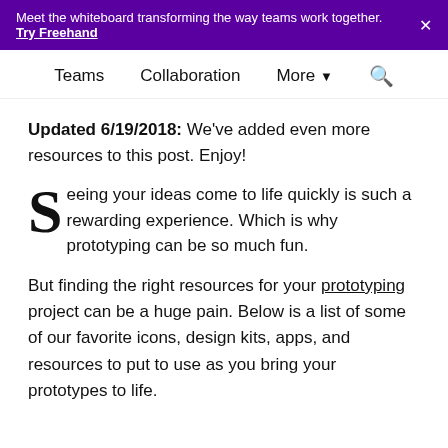Meet the whiteboard transforming the way teams work together. Try Freehand
Teams  Collaboration  More  Search
Updated 6/19/2018: We've added even more resources to this post. Enjoy!
Seeing your ideas come to life quickly is such a rewarding experience. Which is why prototyping can be so much fun.
But finding the right resources for your prototyping project can be a huge pain. Below is a list of some of our favorite icons, design kits, apps, and resources to put to use as you bring your prototypes to life.